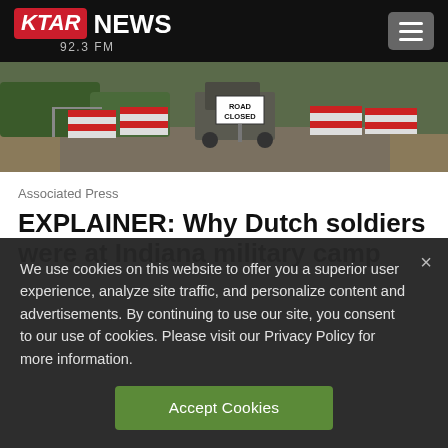KTAR NEWS 92.3 FM
[Figure (photo): Road closed barrier scene with red and white striped barricades and a military vehicle or truck, outdoors near a fenced area with trees in background]
Associated Press
EXPLAINER: Why Dutch soldiers were at Indiana military camp
We use cookies on this website to offer you a superior user experience, analyze site traffic, and personalize content and advertisements. By continuing to use our site, you consent to our use of cookies. Please visit our Privacy Policy for more information.
Accept Cookies